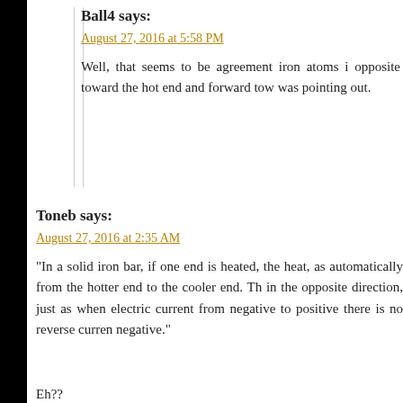Ball4 says:
August 27, 2016 at 5:58 PM
Well, that seems to be agreement iron atoms i opposite toward the hot end and forward tow was pointing out.
Toneb says:
August 27, 2016 at 2:35 AM
“In a solid iron bar, if one end is heated, the heat, as automatically from the hotter end to the cooler end. Th in the opposite direction, just as when electric current from negative to positive there is no reverse curren negative.”
Eh??